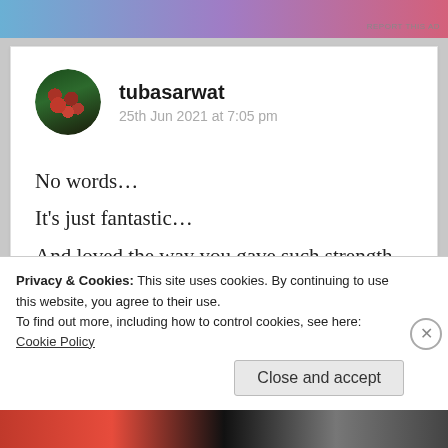[Figure (illustration): Top advertisement banner with blue-pink-red gradient]
REPORT THIS AD
tubasarwat
25th Jun 2021 at 7:05 pm
No words…
It's just fantastic…
And loved the way you gave such strength to everyone else
★ Liked by 5 people
Privacy & Cookies: This site uses cookies. By continuing to use this website, you agree to their use.
To find out more, including how to control cookies, see here: Cookie Policy
Close and accept
REPORT THIS AD
[Figure (illustration): Bottom advertisement banner with red and dark gradient]